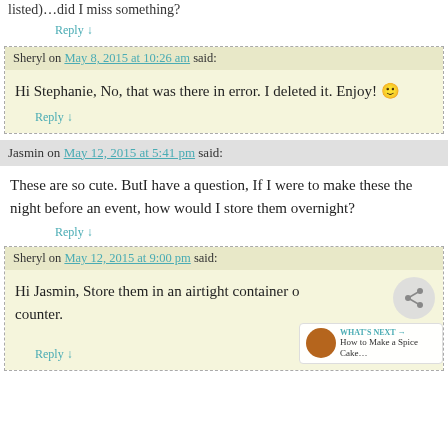listed)…did I miss something?
Reply ↓
Sheryl on May 8, 2015 at 10:26 am said:
Hi Stephanie, No, that was there in error. I deleted it. Enjoy! 🙂
Reply ↓
Jasmin on May 12, 2015 at 5:41 pm said:
These are so cute. ButI have a question, If I were to make these the night before an event, how would I store them overnight?
Reply ↓
Sheryl on May 12, 2015 at 9:00 pm said:
Hi Jasmin, Store them in an airtight container o... counter.
Reply ↓